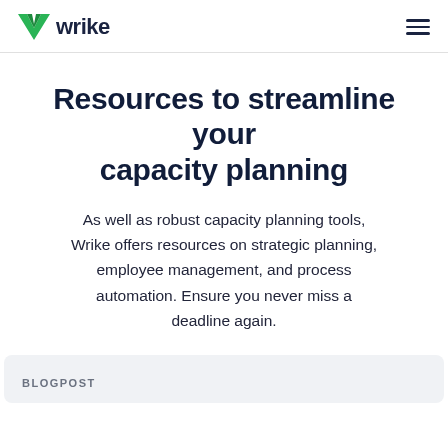wrike
Resources to streamline your capacity planning
As well as robust capacity planning tools, Wrike offers resources on strategic planning, employee management, and process automation. Ensure you never miss a deadline again.
BLOGPOST